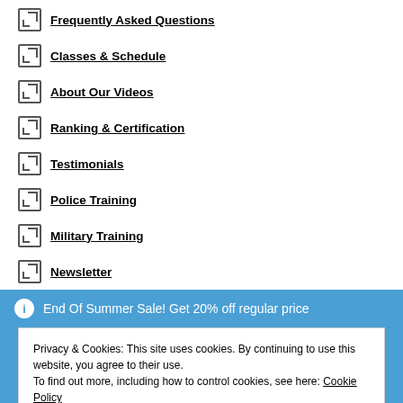Frequently Asked Questions
Classes & Schedule
About Our Videos
Ranking & Certification
Testimonials
Police Training
Military Training
Newsletter
End Of Summer Sale! Get 20% off regular price
Privacy & Cookies: This site uses cookies. By continuing to use this website, you agree to their use.
To find out more, including how to control cookies, see here: Cookie Policy
Close and accept